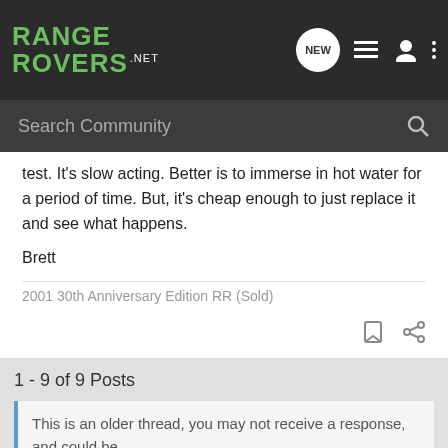[Figure (screenshot): Range Rovers .net website navigation bar with logo, new message bubble icon, list icon, user icon, and three-dot menu icon]
[Figure (screenshot): Search Community input bar with magnifying glass icon]
test. It's slow acting. Better is to immerse in hot water for a period of time. But, it's cheap enough to just replace it and see what happens.
Brett
2001 30th Anniversary Edition RR (Sold)
1 - 9 of 9 Posts
This is an older thread, you may not receive a response, and could be